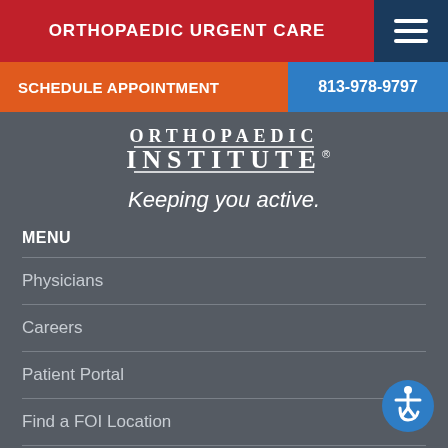ORTHOPAEDIC URGENT CARE
SCHEDULE APPOINTMENT
813-978-9797
[Figure (logo): Florida Orthopaedic Institute logo with text 'ORTHOPAEDIC INSTITUTE']
Keeping you active.
MENU
Physicians
Careers
Patient Portal
Find a FOI Location
Support
Sitemap